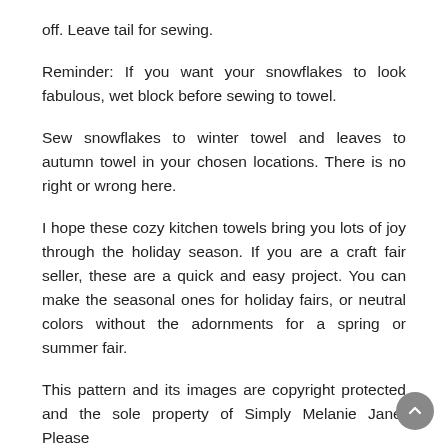off. Leave tail for sewing.
Reminder: If you want your snowflakes to look fabulous, wet block before sewing to towel.
Sew snowflakes to winter towel and leaves to autumn towel in your chosen locations. There is no right or wrong here.
I hope these cozy kitchen towels bring you lots of joy through the holiday season. If you are a craft fair seller, these are a quick and easy project. You can make the seasonal ones for holiday fairs, or neutral colors without the adornments for a spring or summer fair.
This pattern and its images are copyright protected and the sole property of Simply Melanie Jane. Please